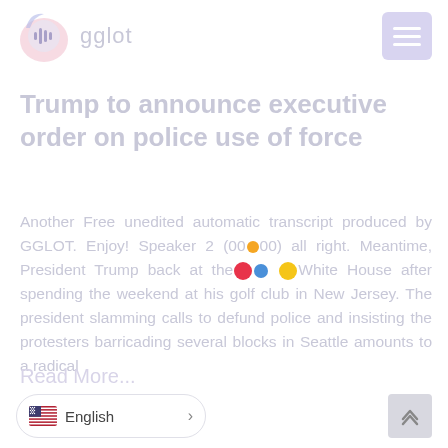gglot
Trump to announce executive order on police use of force
Another Free unedited automatic transcript produced by GGLOT. Enjoy! Speaker 2 (00:00) all right. Meantime, President Trump back at the White House after spending the weekend at his golf club in New Jersey. The president slamming calls to defund police and insisting the protesters barricading several blocks in Seattle amounts to a radical
Read More...
English >